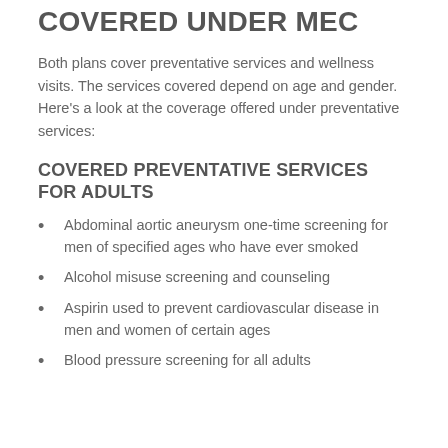PREVENTATIVE SERVICES COVERED UNDER MEC
Both plans cover preventative services and wellness visits. The services covered depend on age and gender. Here's a look at the coverage offered under preventative services:
COVERED PREVENTATIVE SERVICES FOR ADULTS
Abdominal aortic aneurysm one-time screening for men of specified ages who have ever smoked
Alcohol misuse screening and counseling
Aspirin used to prevent cardiovascular disease in men and women of certain ages
Blood pressure screening for all adults